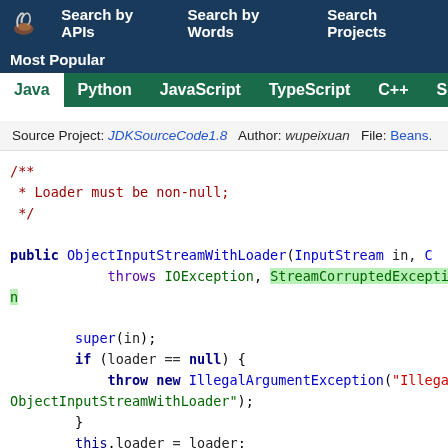Search by APIs   Search by Words   Search Projects
Most Popular
Java  Python  JavaScript  TypeScript  C++  Scala
Source Project: JDKSourceCode1.8   Author: wupeixuan   File: Beans.
[Figure (screenshot): Java source code snippet showing a constructor ObjectInputStreamWithLoader with a comment 'Loader must be non-null', throws IOException and StreamCorruptedException, with body checking if loader == null and throwing IllegalArgumentException, and assigning this.loader = loader.]